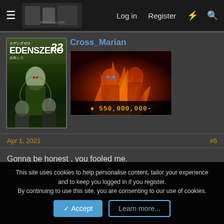≡  [Site banner]   Log in   Register   ⚡   🔍
[Figure (screenshot): Manga book cover for Edens Zero volume 22 with anime characters]
Cross_Marian
[Figure (photo): Avatar image with fire/battle anime scene and bounty text: $ 550,000,000-]
Apr 1, 2021    #6
Gonna be honest , you fooled me.
You pissed me so off in the spoiler thread.
This site uses cookies to help personalise content, tailor your experience and to keep you logged in if you register.
By continuing to use this site, you are consenting to our use of cookies.
✓ Accept    Learn more...